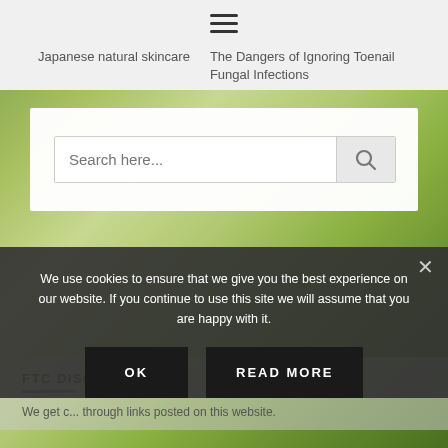≡  Japanese natural skincare   The Dangers of Ignoring Toenail Fungal Infections
[Figure (screenshot): Search bar with placeholder text 'Search here...' and a magnifying glass search button]
We use cookies to ensure that we give you the best experience on our website. If you continue to use this site we will assume that you are happy with it.
OK    READ MORE
FTC DISCLAIMER
We get c... through links posted on this website.